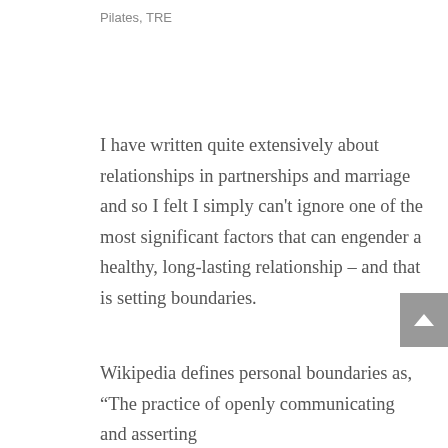Pilates, TRE
I have written quite extensively about relationships in partnerships and marriage and so I felt I simply can't ignore one of the most significant factors that can engender a healthy, long-lasting relationship – and that is setting boundaries.
Wikipedia defines personal boundaries as, “The practice of openly communicating and asserting